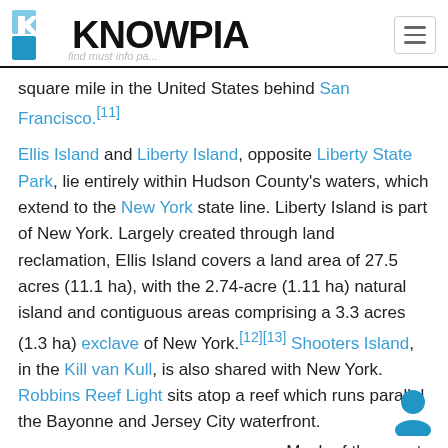KNOWPIA
square mile in the United States behind San Francisco.[11]
Ellis Island and Liberty Island, opposite Liberty State Park, lie entirely within Hudson County's waters, which extend to the New York state line. Liberty Island is part of New York. Largely created through land reclamation, Ellis Island covers a land area of 27.5 acres (11.1 ha), with the 2.74-acre (1.11 ha) natural island and contiguous areas comprising a 3.3 acres (1.3 ha) exclave of New York.[12][13] Shooters Island, in the Kill van Kull, is also shared with New York. Robbins Reef Light sits atop a reef which runs parallel the Bayonne and Jersey City waterfront.
Much of the county